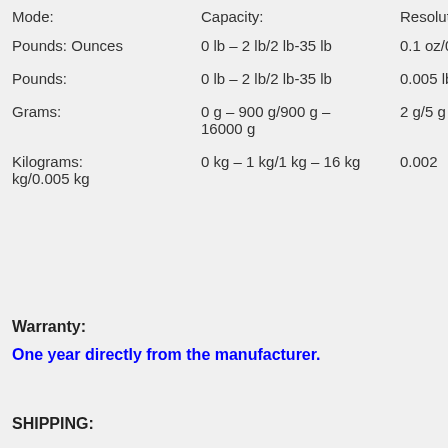| Mode: | Capacity: | Resolution: |
| --- | --- | --- |
| Pounds: Ounces | 0 lb – 2 lb/2 lb-35 lb | 0.1 oz/0.2 oz |
| Pounds: | 0 lb – 2 lb/2 lb-35 lb | 0.005 lb/0.01 lb |
| Grams: | 0 g – 900 g/900 g – 16000 g | 2 g/5 g |
| Kilograms: | 0 kg – 1 kg/1 kg – 16 kg | 0.002 kg/0.005 kg |
Warranty:
One year directly from the manufacturer.
SHIPPING: